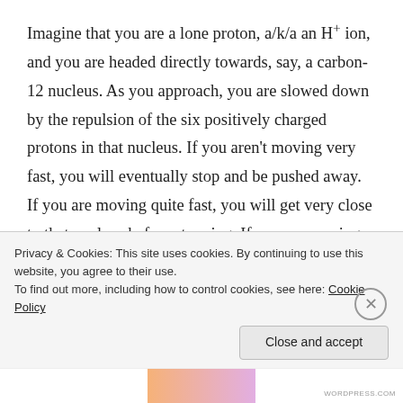Imagine that you are a lone proton, a/k/a an H+ ion, and you are headed directly towards, say, a carbon-12 nucleus. As you approach, you are slowed down by the repulsion of the six positively charged protons in that nucleus. If you aren't moving very fast, you will eventually stop and be pushed away. If you are moving quite fast, you will get very close to that nucleus before stopping. If you are moving fast enough, you'll manage to get close enough that suddenly, you'll feel the nuclear force and now you're caught–you just became part of a nitrogen-13 nucleus (which, by the way, is unstable and
Privacy & Cookies: This site uses cookies. By continuing to use this website, you agree to their use.
To find out more, including how to control cookies, see here: Cookie Policy
Close and accept